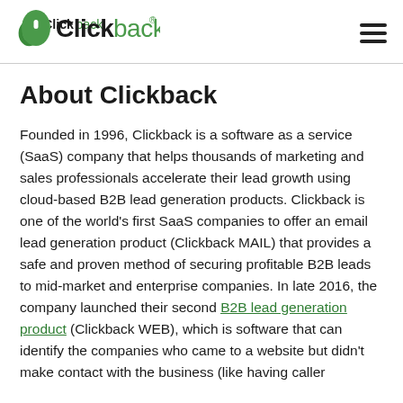Clickback [logo] [hamburger menu]
About Clickback
Founded in 1996, Clickback is a software as a service (SaaS) company that helps thousands of marketing and sales professionals accelerate their lead growth using cloud-based B2B lead generation products. Clickback is one of the world’s first SaaS companies to offer an email lead generation product (Clickback MAIL) that provides a safe and proven method of securing profitable B2B leads to mid-market and enterprise companies. In late 2016, the company launched their second B2B lead generation product (Clickback WEB), which is software that can identify the companies who came to a website but didn’t make contact with the business (like having caller